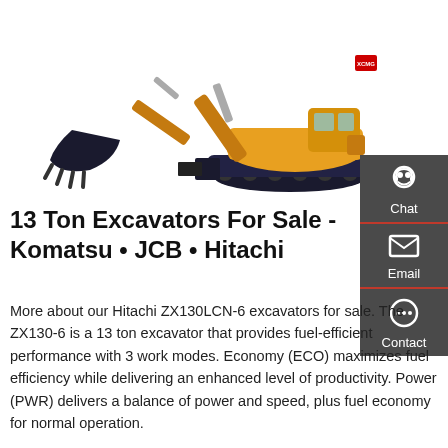[Figure (photo): Yellow Hitachi ZX130LCN-6 13-ton excavator on white background, shown in profile with bucket extended to the left and tracks visible.]
13 Ton Excavators For Sale - Komatsu • JCB • Hitachi
More about our Hitachi ZX130LCN-6 excavators for sale. The ZX130-6 is a 13 ton excavator that provides fuel-efficient performance with 3 work modes. Economy (ECO) maximizes fuel efficiency while delivering an enhanced level of productivity. Power (PWR) delivers a balance of power and speed, plus fuel economy for normal operation.